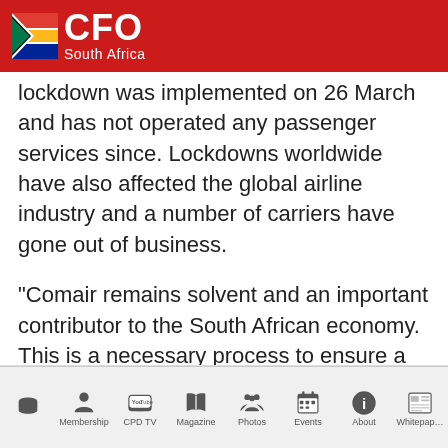CFO South Africa
lockdown was implemented on 26 March and has not operated any passenger services since. Lockdowns worldwide have also affected the global airline industry and a number of carriers have gone out of business.
“Comair remains solvent and an important contributor to the South African economy. This is a necessary process to ensure a focussed restructuring of the company takes place as quickly as possible so we can take to the skies again as a sustainable
Home | Membership | CPD TV | Magazine | Photos | Events | About | Whitepaper